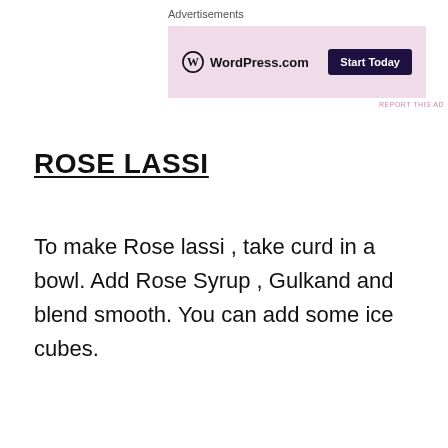Advertisements
[Figure (other): WordPress.com advertisement banner with pink/mauve background, WordPress.com logo on the left, and a dark 'Start Today' button on the right. Small 'REPORT THIS AD' text below.]
ROSE LASSI
To make Rose lassi , take curd in a bowl. Add Rose Syrup , Gulkand and blend smooth. You can add some ice cubes.